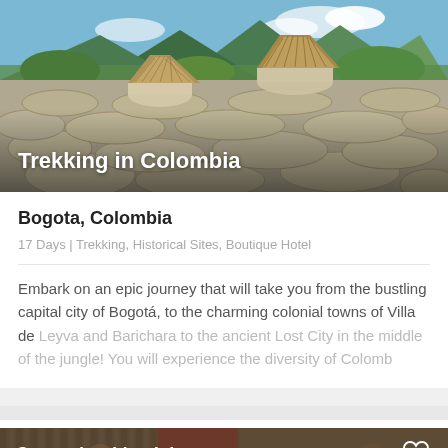[Figure (photo): Aerial view of stone cobblestone path with thatched-roof huts and lush green mountains in the background, Colombia.]
Trekking in Colombia
Bogota, Colombia
17 Days | Trekking, Historical Sites, Boutique Hotel
Embark on an epic journey that will take you from the bustling capital city of Bogotá, to the charming colonial towns of Villa de Leyva and Barichara to the ancient Lost City in the middle of the jungle! You will experience the diversity of Colomb
[Figure (photo): Indigenous people in a bamboo hut with colorful hammocks, Colombia.]
Customize this trip!